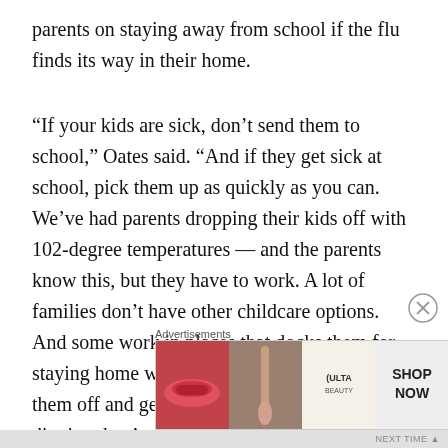parents on staying away from school if the flu finds its way in their home.
“If your kids are sick, don’t send them to school,” Oates said. “And if they get sick at school, pick them up as quickly as you can. We’ve had parents dropping their kids off with 102-degree temperatures — and the parents know this, but they have to work. A lot of families don’t have other childcare options. And some work in places that docks them for staying home with sick kids, yet if they drop them off and get a phone call at work from the district, they’re not docked those points. It’s an issue we’re trying to deal with, but it’s
Advertisements
[Figure (photo): Ulta Beauty advertisement banner showing makeup and eye makeup images with 'SHOP NOW' text]